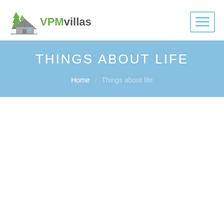VPMvillas
THINGS ABOUT LIFE
Home / Things about life